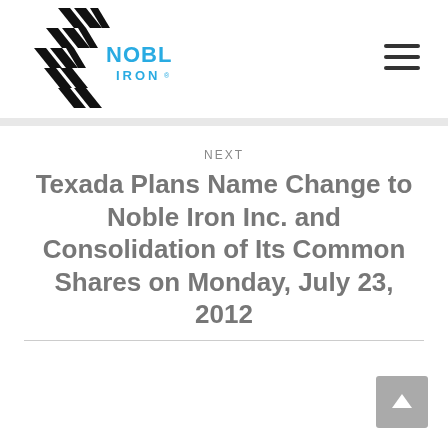[Figure (logo): Noble Iron logo with black geometric tire-tread pattern and blue 'NOBLE IRON' text]
NEXT
Texada Plans Name Change to Noble Iron Inc. and Consolidation of Its Common Shares on Monday, July 23, 2012